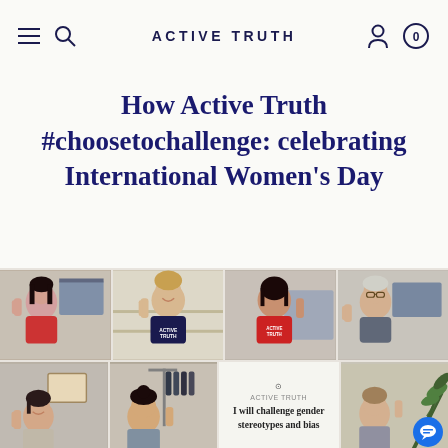ACTIVE TRUTH
How Active Truth #choosetochallenge: celebrating International Women's Day
[Figure (photo): Grid of women raising their hands in a #choosetochallenge pose for International Women's Day. Top row: four women in office or home settings wearing Active Truth branded clothing. Bottom row: two women raising hands, one card with 'I will challenge gender stereotypes and bias', one woman raising hand outdoors with plants.]